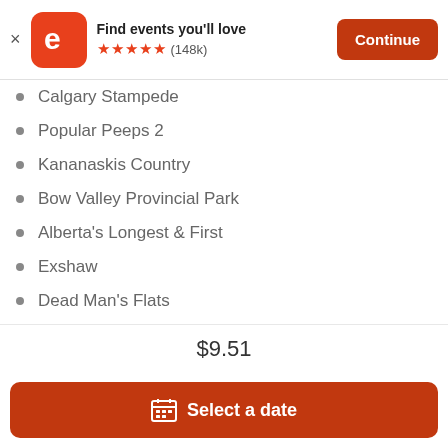[Figure (screenshot): Eventbrite app banner with logo, 'Find events you'll love' text, 5 star rating (148k reviews), and Continue button]
Calgary Stampede
Popular Peeps 2
Kananaskis Country
Bow Valley Provincial Park
Alberta's Longest & First
Exshaw
Dead Man's Flats
Three Sisters Mountains
Canmore
Canmore Museum
$9.51
Select a date